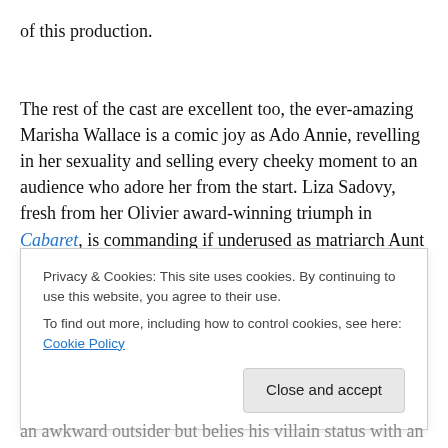of this production.
The rest of the cast are excellent too, the ever-amazing Marisha Wallace is a comic joy as Ado Annie, revelling in her sexuality and selling every cheeky moment to an audience who adore her from the start. Liza Sadovy, fresh from her Olivier award-winning triumph in Cabaret, is commanding if underused as matriarch Aunt Eller whose
Privacy & Cookies: This site uses cookies. By continuing to use this website, you agree to their use. To find out more, including how to control cookies, see here: Cookie Policy
an awkward outsider but belies his villain status with an